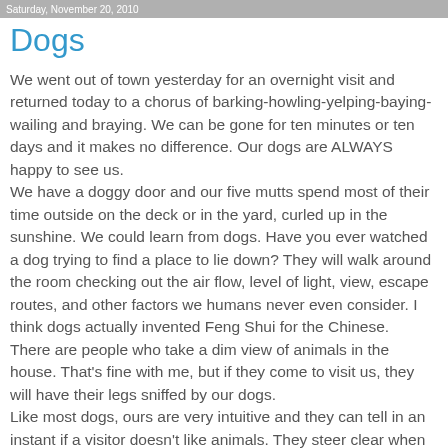Saturday, November 20, 2010
Dogs
We went out of town yesterday for an overnight visit and returned today to a chorus of barking-howling-yelping-baying-wailing and braying. We can be gone for ten minutes or ten days and it makes no difference. Our dogs are ALWAYS happy to see us.
We have a doggy door and our five mutts spend most of their time outside on the deck or in the yard, curled up in the sunshine. We could learn from dogs. Have you ever watched a dog trying to find a place to lie down? They will walk around the room checking out the air flow, level of light, view, escape routes, and other factors we humans never even consider. I think dogs actually invented Feng Shui for the Chinese.
There are people who take a dim view of animals in the house. That's fine with me, but if they come to visit us, they will have their legs sniffed by our dogs.
Like most dogs, ours are very intuitive and they can tell in an instant if a visitor doesn't like animals. They steer clear when they are not welcome. But when they encounter dog lovers,